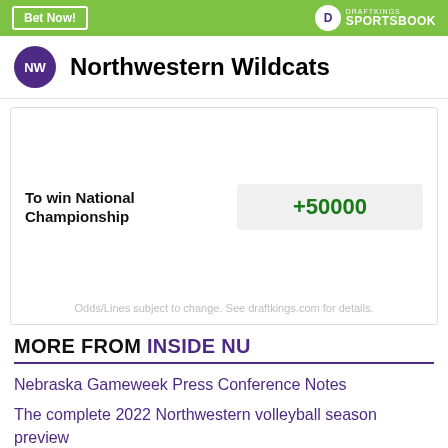[Figure (logo): DraftKings Sportsbook banner with Bet Now button and DraftKings logo on green background]
Northwestern Wildcats
| Market | Odds |
| --- | --- |
| To win National Championship | +50000 |
Odds/Lines subject to change. See draftkings.com for details.
MORE FROM INSIDE NU
Nebraska Gameweek Press Conference Notes
The complete 2022 Northwestern volleyball season preview